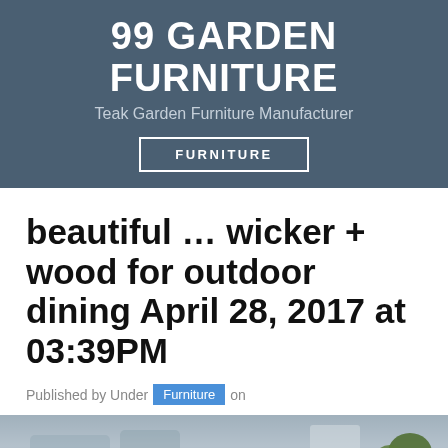99 GARDEN FURNITURE
Teak Garden Furniture Manufacturer
FURNITURE
beautiful … wicker + wood for outdoor dining April 28, 2017 at 03:39PM
Published by Under Furniture on
[Figure (photo): Blurred outdoor dining scene with plants]